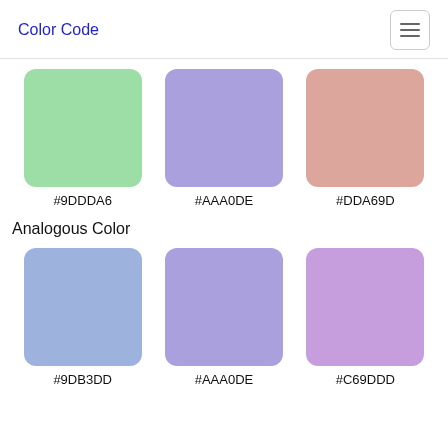Color Code
[Figure (illustration): Three color swatches in a row: green (#9DDDA6), purple (#AAA0DE), and rose (#DDA69D), each with hex label below]
#9DDDA6
#AAA0DE
#DDA69D
Analogous Color
[Figure (illustration): Three color swatches in a row: blue (#9DB3DD), purple (#AAA0DE), and mauve (#C69DDD), each with hex label below]
#9DB3DD
#AAA0DE
#C69DDD